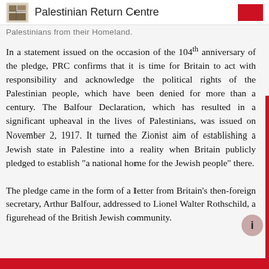Palestinian Return Centre
Palestinians from their Homeland.
In a statement issued on the occasion of the 104th anniversary of the pledge, PRC confirms that it is time for Britain to act with responsibility and acknowledge the political rights of the Palestinian people, which have been denied for more than a century. The Balfour Declaration, which has resulted in a significant upheaval in the lives of Palestinians, was issued on November 2, 1917. It turned the Zionist aim of establishing a Jewish state in Palestine into a reality when Britain publicly pledged to establish "a national home for the Jewish people" there.
The pledge came in the form of a letter from Britain's then-foreign secretary, Arthur Balfour, addressed to Lionel Walter Rothschild, a figurehead of the British Jewish community.